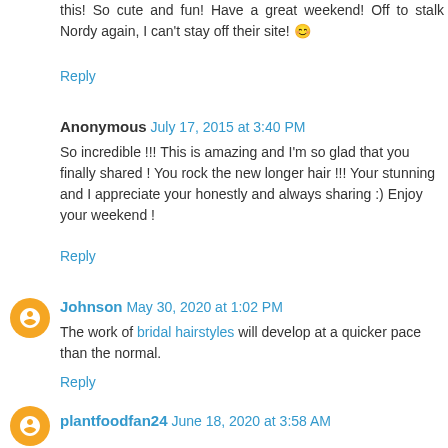this! So cute and fun! Have a great weekend! Off to stalk Nordy again, I can't stay off their site! 😊
Reply
Anonymous July 17, 2015 at 3:40 PM
So incredible !!! This is amazing and I'm so glad that you finally shared ! You rock the new longer hair !!! Your stunning and I appreciate your honestly and always sharing :) Enjoy your weekend !
Reply
Johnson May 30, 2020 at 1:02 PM
The work of bridal hairstyles will develop at a quicker pace than the normal.
Reply
plantfoodfan24 June 18, 2020 at 3:58 AM